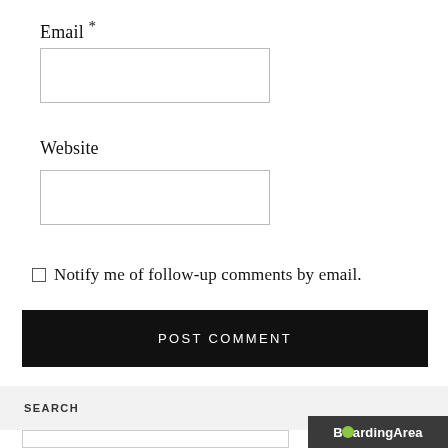Email *
Website
Notify me of follow-up comments by email.
POST COMMENT
SEARCH
[Figure (logo): BoardingArea logo — dark grey background with white bold text reading BoardingArea, with a green speech-bubble dot replacing the letter O in Boarding]